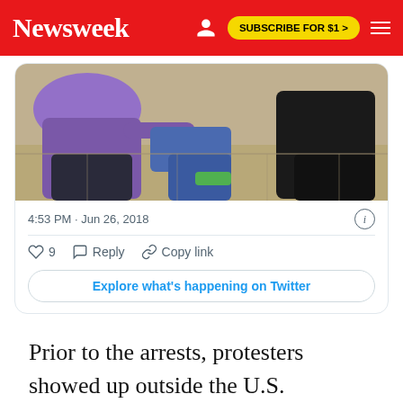Newsweek — SUBSCRIBE FOR $1 >
[Figure (screenshot): Embedded tweet screenshot showing people sitting on the ground, timestamp 4:53 PM · Jun 26, 2018, with 9 likes, Reply, Copy link actions, and Explore what's happening on Twitter button]
Prior to the arrests, protesters showed up outside the U.S. attorney's office and chanted, "Jeff Sessions, get out the way.... We're gonna break the chains."